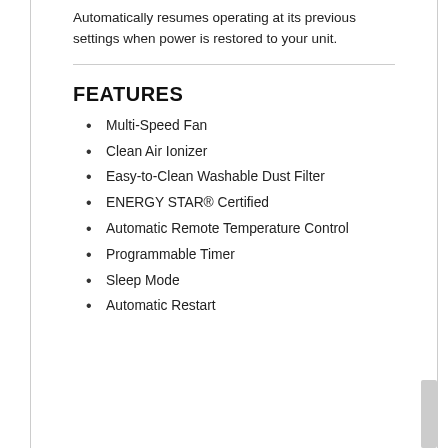Automatically resumes operating at its previous settings when power is restored to your unit.
FEATURES
Multi-Speed Fan
Clean Air Ionizer
Easy-to-Clean Washable Dust Filter
ENERGY STAR® Certified
Automatic Remote Temperature Control
Programmable Timer
Sleep Mode
Automatic Restart